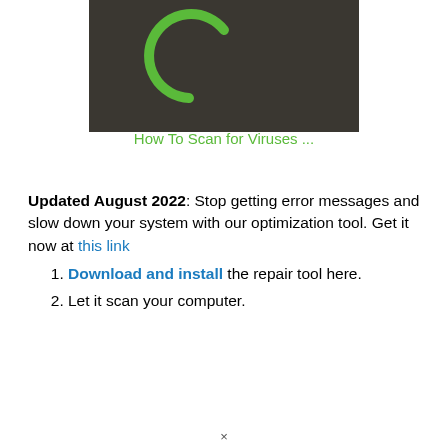[Figure (screenshot): Dark background image showing a green circular spinner/loading arc icon centered on a dark brownish-gray background.]
How To Scan for Viruses ...
Updated August 2022: Stop getting error messages and slow down your system with our optimization tool. Get it now at this link
Download and install the repair tool here.
Let it scan your computer.
×